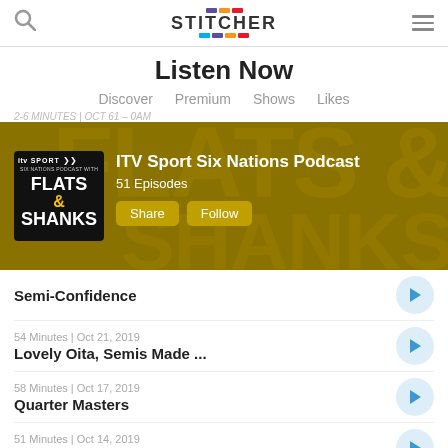Stitcher
Listen Now
Discover   Premium   Shows   Likes
[Figure (screenshot): ITV Sport Six Nations Podcast banner with Flats & Shanks logo, showing podcast title, 51 Episodes, Share and Follow buttons on a dark golden/olive background]
Semi-Confidence
54 Minutes | Oct 21, 2019
Lovely Oita, Semis Made ...
58 Minutes | Oct 17, 2019
Quarter Masters
51 Minutes | Oct 14, 2019
Japanguish For Scotland